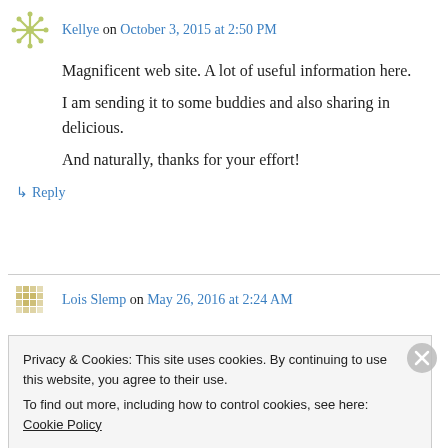Kellye on October 3, 2015 at 2:50 PM
Magnificent web site. A lot of useful information here.
I am sending it to some buddies and also sharing in delicious.
And naturally, thanks for your effort!
↳ Reply
Lois Slemp on May 26, 2016 at 2:24 AM
Privacy & Cookies: This site uses cookies. By continuing to use this website, you agree to their use.
To find out more, including how to control cookies, see here: Cookie Policy
Close and accept